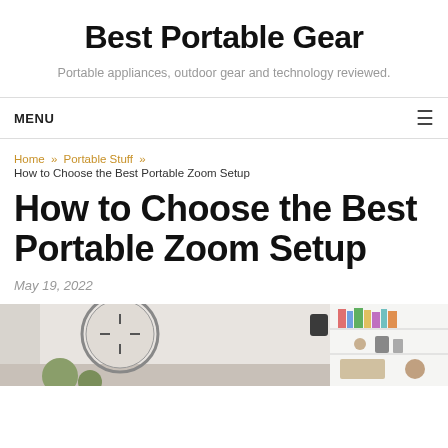Best Portable Gear
Portable appliances, outdoor gear and technology reviewed.
MENU
Home » Portable Stuff » How to Choose the Best Portable Zoom Setup
How to Choose the Best Portable Zoom Setup
May 19, 2022
[Figure (photo): Interior room scene with circular mirror, clock, decorative items and white bookshelf with books and objects]